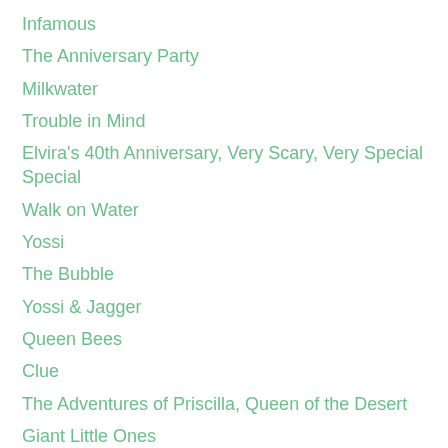Infamous
The Anniversary Party
Milkwater
Trouble in Mind
Elvira's 40th Anniversary, Very Scary, Very Special Special
Walk on Water
Yossi
The Bubble
Yossi & Jagger
Queen Bees
Clue
The Adventures of Priscilla, Queen of the Desert
Giant Little Ones
Twilight's Kiss
La Cage Aux Folles
Beginners